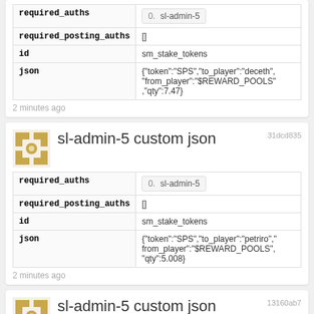| field | value |
| --- | --- |
| required_auths | 0.  sl-admin-5 |
| required_posting_auths | [] |
| id | sm_stake_tokens |
| json | {"token":"SPS","to_player":"deceth","from_player":"$REWARD_POOLS","qty":7.47} |
2 minutes ago
sl-admin-5 custom json
31dcd835
| field | value |
| --- | --- |
| required_auths | 0.  sl-admin-5 |
| required_posting_auths | [] |
| id | sm_stake_tokens |
| json | {"token":"SPS","to_player":"petriro","from_player":"$REWARD_POOLS","qty":5.008} |
2 minutes ago
sl-admin-5 custom json
13160ab7
| field | value |
| --- | --- |
| required_auths | 0.  sl-admin-5 |
| required_posting_auths | [] |
| id | sm_stake_tokens |